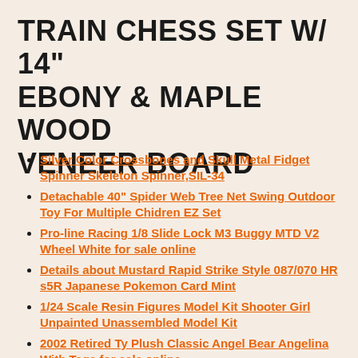TRAIN CHESS SET W/ 14" EBONY & MAPLE WOOD VENEER BOARD
Silver Color Crossbones and Skull Metal Fidget Spinner Skeleton Spinner,SIL-34
Detachable 40" Spider Web Tree Net Swing Outdoor Toy For Multiple Chidren EZ Set
Pro-line Racing 1/8 Slide Lock M3 Buggy MTD V2 Wheel White for sale online
Details about  Mustard Rapid Strike Style 087/070 HR s5R Japanese Pokemon Card Mint
1/24 Scale Resin Figures Model Kit Shooter Girl Unpainted Unassembled Model Kit
2002 Retired Ty Plush Classic Angel Bear Angelina With Tags for sale online
Webkinz Yorkie for sale online
POKEMON JIGGLYPUFF 14/18 COMMON NM HOLOFOIL CARD DETECTIVE PIKACHU
Die-cast Car Model Collection 1/43 DINKY TOYS De